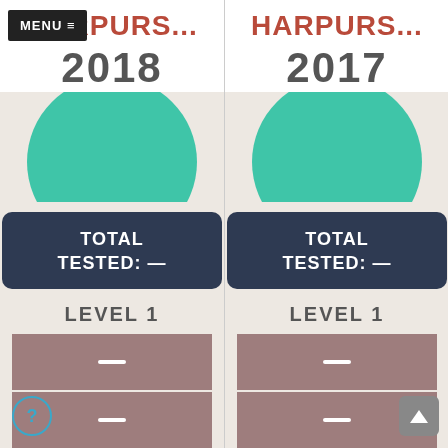[Figure (screenshot): School comparison interface showing two columns: left column for HARPURS... 2018 with a teal circle, 'TOTAL TESTED: —' dark box, LEVEL 1 label, and two mauve bars with dashes. Right column for HARPURS... 2017 with identical layout. Menu button top-left, scroll-up button bottom-right, help button bottom-left.]
MENU ≡
HARPURS...
2018
TOTAL TESTED: —
LEVEL 1
HARPURS...
2017
TOTAL TESTED: —
LEVEL 1